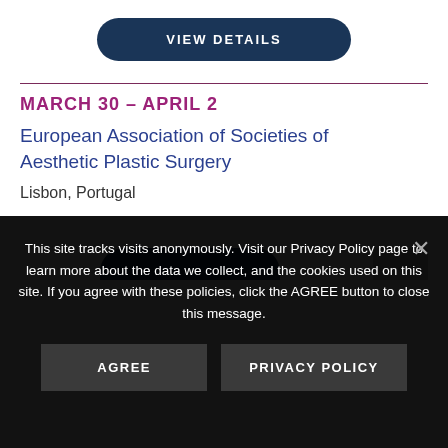[Figure (other): Dark navy rounded button labeled VIEW DETAILS]
MARCH 30 – APRIL 2
European Association of Societies of Aesthetic Plastic Surgery
Lisbon, Portugal
This site tracks visits anonymously. Visit our Privacy Policy page to learn more about the data we collect, and the cookies used on this site. If you agree with these policies, click the AGREE button to close this message.
[Figure (other): AGREE button (dark gray) and PRIVACY POLICY button (dark gray)]